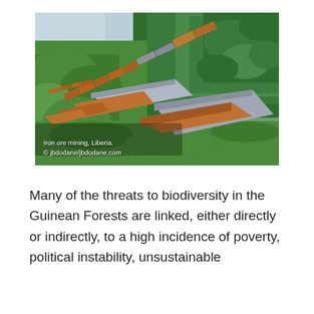[Figure (photo): Aerial view of iron ore mining train cars winding through dense green jungle in Liberia. The train cars are orange/brown, some covered with grey tarps, running along a track surrounded by lush tropical forest vegetation. Overlaid text reads 'Iron ore mining, Liberia. © jbdodane/jbdodane.com'.]
Many of the threats to biodiversity in the Guinean Forests are linked, either directly or indirectly, to a high incidence of poverty, political instability, unsustainable